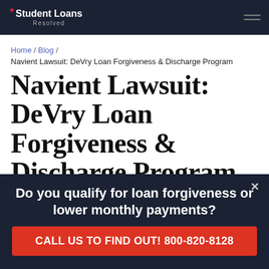Student Loans Resolved
Home / Blog /
Navient Lawsuit: DeVry Loan Forgiveness & Discharge Program
Navient Lawsuit: DeVry Loan Forgiveness & Discharge Program
SLR | Published: February 21st, 2019 | Updated: November 5th, 2020
[Figure (photo): Partial photo of a person, shown at bottom of article header area]
Do you qualify for loan forgiveness or lower monthly payments?
CALL US TO FIND OUT! 800-820-8128